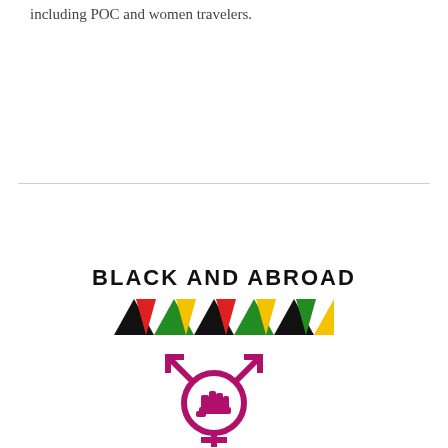including POC and women travelers.
[Figure (logo): Black and Abroad logo: bold text 'BLACK AND ABROAD' above two rows of alternating colored triangles (black, red, green, yellow) pointing up and down]
[Figure (logo): Gender symbol with fist icon in magenta/dark pink color, combining male/female/transgender symbols with a raised fist in the center circle]